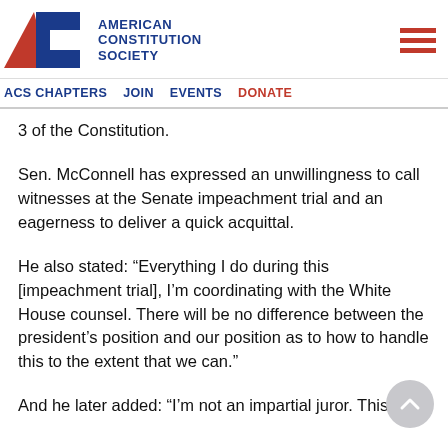ACS CHAPTERS  JOIN  EVENTS  DONATE
3 of the Constitution.
Sen. McConnell has expressed an unwillingness to call witnesses at the Senate impeachment trial and an eagerness to deliver a quick acquittal.
He also stated: “Everything I do during this [impeachment trial], I’m coordinating with the White House counsel. There will be no difference between the president’s position and our position as to how to handle this to the extent that we can.”
And he later added: “I’m not an impartial juror. This